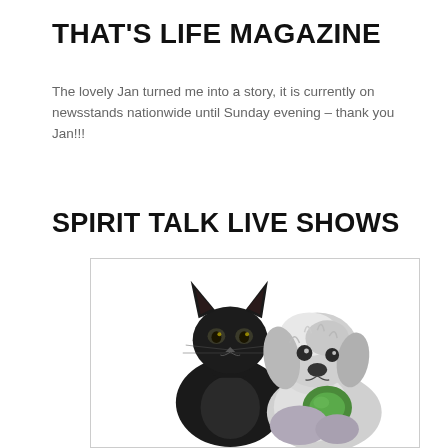THAT'S LIFE MAGAZINE
The lovely Jan turned me into a story, it is currently on newsstands nationwide until Sunday evening – thank you Jan!!!
SPIRIT TALK LIVE SHOWS
[Figure (photo): A black cat and a small white fluffy dog posed together against a white background]